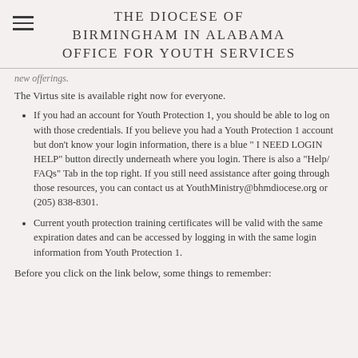THE DIOCESE OF BIRMINGHAM IN ALABAMA OFFICE FOR YOUTH SERVICES
new offerings.
The Virtus site is available right now for everyone.
If you had an account for Youth Protection 1, you should be able to log on with those credentials. If you believe you had a Youth Protection 1 account but don't know your login information, there is a blue " I NEED LOGIN HELP" button directly underneath where you login. There is also a "Help/ FAQs" Tab in the top right. If you still need assistance after going through those resources, you can contact us at YouthMinistry@bhmdiocese.org or (205) 838-8301.
Current youth protection training certificates will be valid with the same expiration dates and can be accessed by logging in with the same login information from Youth Protection 1.
Before you click on the link below, some things to remember: